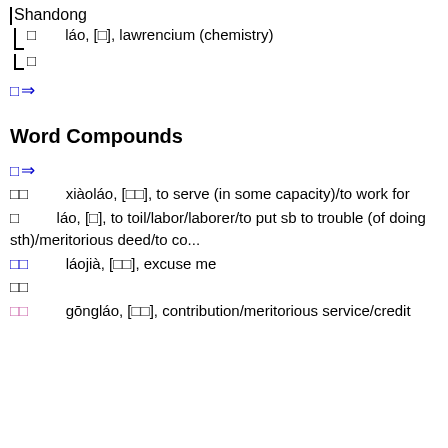Shandong
劳　　láo, [銠], lawrencium (chemistry)
劳
⇒ (arrow)
Word Compounds
⇒ (arrow)
效劳　　xiàoláo, [效勞], to serve (in some capacity)/to work for
劳　　láo, [勞], to toil/labor/laborer/to put sb to trouble (of doing sth)/meritorious deed/to co...
劳驾　　láojià, [勞駕], excuse me
劳驾
功劳　　gōngláo, [功勞], contribution/meritorious service/credit